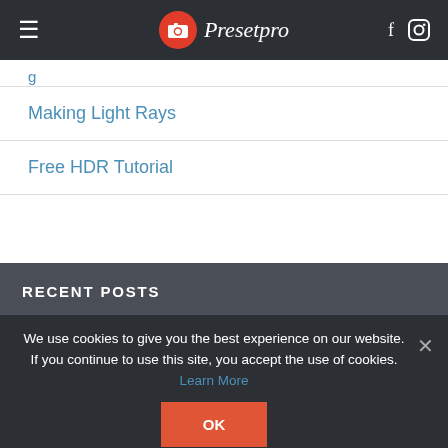Presetpro
g...
Making Light Rays
Free HDR Tutorial
RECENT POSTS
We use cookies to give you the best experience on our website. If you continue to use this site, you accept the use of cookies. Learn More
OK